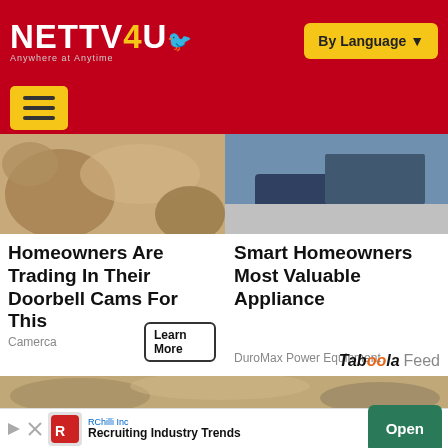NETTV4U — Anywhere at Anytime | By Language
[Figure (screenshot): Navigation bar with hamburger menu on red background]
[Figure (photo): Left image showing bread/baked goods on sandy texture]
[Figure (photo): Right image showing a vehicle/equipment on pavement]
Homeowners Are Trading In Their Doorbell Cams For This
Camerca
Smart Homeowners Most Valuable Appliance
DuroMax Power Equipment
Taboola Feed
[Figure (photo): Bottom strip showing sandy/earthy texture]
RChilli Inc — Recruiting Industry Trends — Open